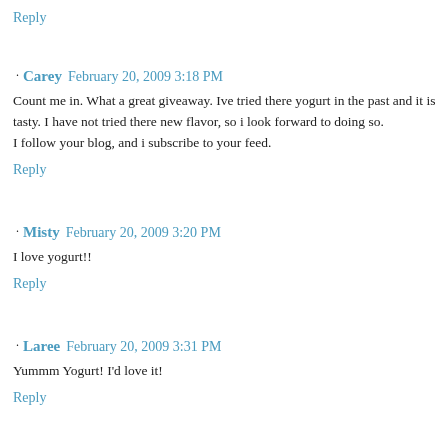Reply
Carey  February 20, 2009 3:18 PM
Count me in. What a great giveaway. Ive tried there yogurt in the past and it is tasty. I have not tried there new flavor, so i look forward to doing so.
I follow your blog, and i subscribe to your feed.
Reply
Misty  February 20, 2009 3:20 PM
I love yogurt!!
Reply
Laree  February 20, 2009 3:31 PM
Yummm Yogurt! I'd love it!
Reply